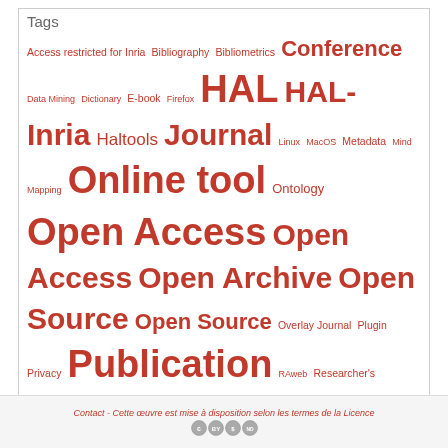Tags
Access restricted for Inria Bibliography Bibliometrics Conference Data Mining Dictionary E-book Firefox HAL HAL-Inria Haltools Journal Linux MacOS Metadata Mind Mapping Online tool Ontology Open Access Open Access Open Archive Open Source Open Source Overlay Journal Plugin Privacy Publication RAweb Researcher's Information Toolkit RSS Search Engine Share Shareware Statistics Survey Tutoriel Video Windows Library catalog Digital document Export format Model Author-Pays Free tool Pay tool Social network
Contact - Cette œuvre est mise à disposition selon les termes de la Licence